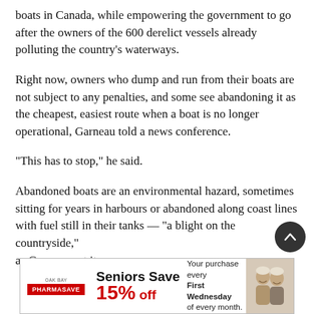boats in Canada, while empowering the government to go after the owners of the 600 derelict vessels already polluting the country's waterways.
Right now, owners who dump and run from their boats are not subject to any penalties, and some see abandoning it as the cheapest, easiest route when a boat is no longer operational, Garneau told a news conference.
“This has to stop,” he said.
Abandoned boats are an environmental hazard, sometimes sitting for years in harbours or abandoned along coast lines with fuel still in their tanks — “a blight on the countryside,” as Garneau put it.
[Figure (other): Pharmasave advertisement: Seniors Save 15% off. Your purchase every First Wednesday of every month. Features an image of a smiling senior couple.]